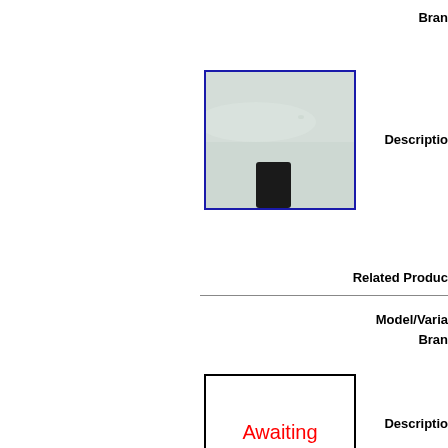Bran
[Figure (photo): Photo of a car mudguard/mudflap on a light-colored vehicle, shown from the rear lower corner, with a black rubber mudflap visible against a pale green/white car body.]
Descriptio
Related Produc
Model/Varia
Bran
[Figure (photo): Awaiting Photo placeholder box with red text reading 'Awaiting Photo']
Descriptio